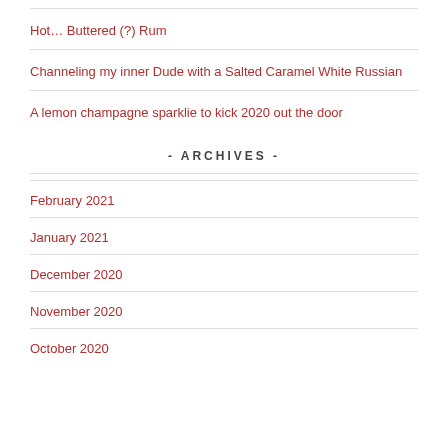Hot… Buttered (?) Rum
Channeling my inner Dude with a Salted Caramel White Russian
A lemon champagne sparklie to kick 2020 out the door
- ARCHIVES -
February 2021
January 2021
December 2020
November 2020
October 2020